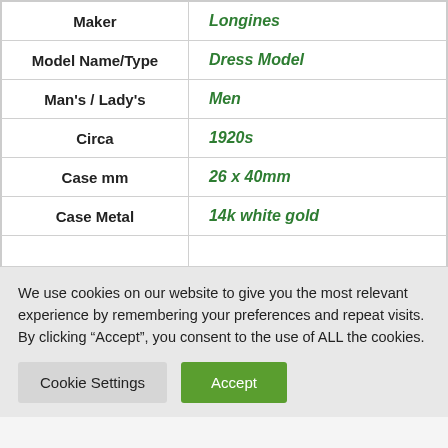| Field | Value |
| --- | --- |
| Maker | Longines |
| Model Name/Type | Dress Model |
| Man's / Lady's | Men |
| Circa | 1920s |
| Case mm | 26 x 40mm |
| Case Metal | 14k white gold |
We use cookies on our website to give you the most relevant experience by remembering your preferences and repeat visits. By clicking “Accept”, you consent to the use of ALL the cookies.